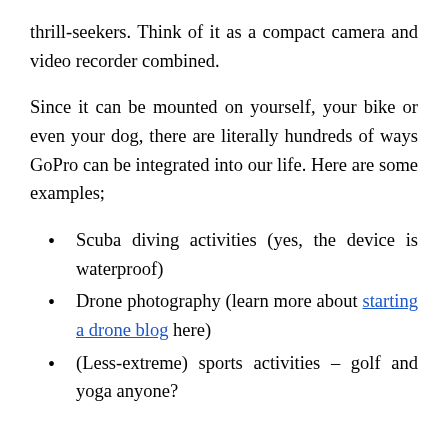thrill-seekers. Think of it as a compact camera and video recorder combined.
Since it can be mounted on yourself, your bike or even your dog, there are literally hundreds of ways GoPro can be integrated into our life. Here are some examples;
Scuba diving activities (yes, the device is waterproof)
Drone photography (learn more about starting a drone blog here)
(Less-extreme) sports activities – golf and yoga anyone?